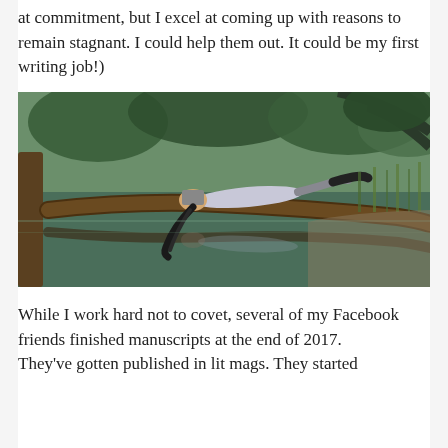at commitment, but I excel at coming up with reasons to remain stagnant. I could help them out. It could be my first writing job!)
[Figure (photo): A person lying face-down on a fallen tree trunk over a calm reflective body of water, with trees and green foliage in the background. The scene is reflected in the still water below.]
While I work hard not to covet, several of my Facebook friends finished manuscripts at the end of 2017. They've gotten published in lit mags. They started